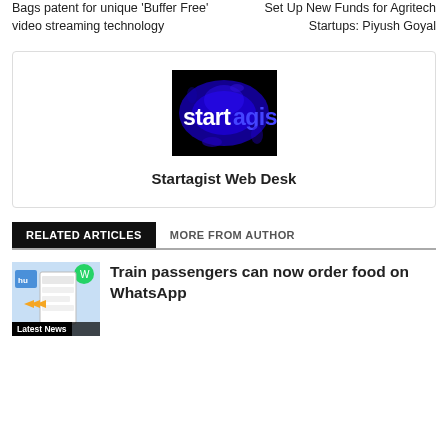Bags patent for unique 'Buffer Free' video streaming technology
Set Up New Funds for Agritech Startups: Piyush Goyal
[Figure (logo): Startagist logo — blue glowing text on black background]
Startagist Web Desk
RELATED ARTICLES
MORE FROM AUTHOR
[Figure (photo): Thumbnail for WhatsApp food ordering article showing a mobile screen with a food app]
Latest News
Train passengers can now order food on WhatsApp